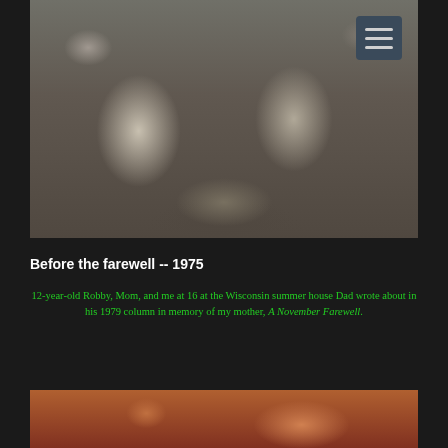[Figure (photo): Black and white photograph of a young blonde woman and a man wearing glasses and a suit with a tie, seated together, likely at a social event in the 1970s.]
Before the farewell -- 1975
12-year-old Robby, Mom, and me at 16 at the Wisconsin summer house Dad wrote about in his 1979 column in memory of my mother, A November Farewell.
[Figure (photo): Partial view of a second photograph, showing warm reddish-orange tones, partially visible at the bottom of the page.]